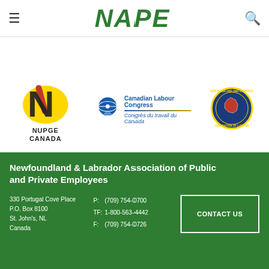NAPE
[Figure (logo): NUPGE Canada logo - yellow and black stylized N with red accent]
[Figure (logo): Canadian Labour Congress / Congrès du travail du Canada logo with globe graphic]
[Figure (logo): Newfoundland and Labrador Federation of Labour circular seal logo]
[Figure (logo): Altogether NOW! red text logo with maple leaf]
Newfoundland & Labrador Association of Public and Private Employees
330 Portugal Cove Place
P.O. Box 8100
St. John's, NL
Canada
P: (709) 754-0700
TF: 1-800-563-4442
F: (709) 754-0726
CONTACT US